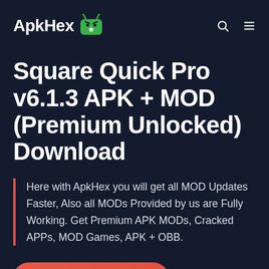ApkHex
Square Quick Pro v6.1.3 APK + MOD (Premium Unlocked) Download
Here with ApkHex you will get all MOD Updates Faster, Also all MODs Provided by us are Fully Working. Get Premium APK MODs, Cracked APPs, MOD Games, APK + OBB.
Follow us on Telegram